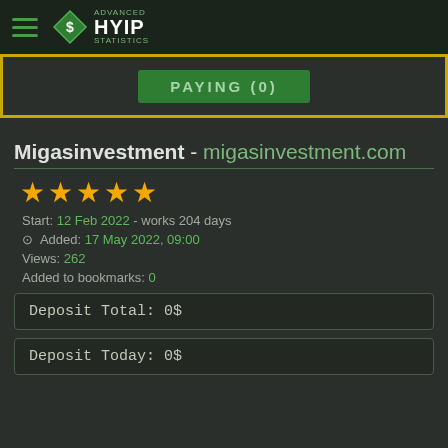Advanced HYIP Statistics
PAYING (0)
Migasinvestment - migasinvestment.com
[Figure (other): 5 gold star rating]
Start: 12 Feb 2022 - works 204 days
Added: 17 May 2022, 09:00
Views: 262
Added to bookmarks: 0
Deposit Total: 0$
Deposit Today: 0$